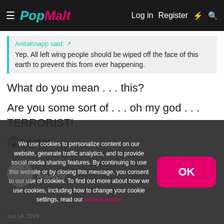PopMalt — Log in  Register
AnitaKnapp said: ↗
Yep. All left wing people should be wiped off the face of this earth to prevent this from ever happening.
What do you mean . . . this?
Are you some sort of . . . oh my god . . . TERRORIST!
😱sama:
We use cookies to personalize content on our website, generate traffic analytics, and to provide social media sharing features. By continuing to use this website or by closing this message, you consent to our use of cookies. To find out more about how we use cookies, including how to change your cookie settings, read our privacy policy.